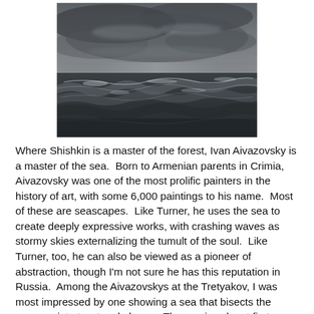[Figure (photo): A dramatic seascape painting showing dark stormy ocean waves under a brooding overcast sky, painted in a realistic style reminiscent of 19th-century Russian marine painting.]
Where Shishkin is a master of the forest, Ivan Aivazovsky is a master of the sea.  Born to Armenian parents in Crimia, Aivazovsky was one of the most prolific painters in the history of art, with some 6,000 paintings to his name.  Most of these are seascapes.  Like Turner, he uses the sea to create deeply expressive works, with crashing waves as stormy skies externalizing the tumult of the soul.  Like Turner, too, he can also be viewed as a pioneer of abstraction, though I'm not sure he has this reputation in Russia.  Among the Aivazovskys at the Tretyakov, I was most impressed by one showing a sea that bisects the canvass into two tonal planes.  The sea is calm at first glance, but rising waves and a dark cloud suggest that a storm is brewing.